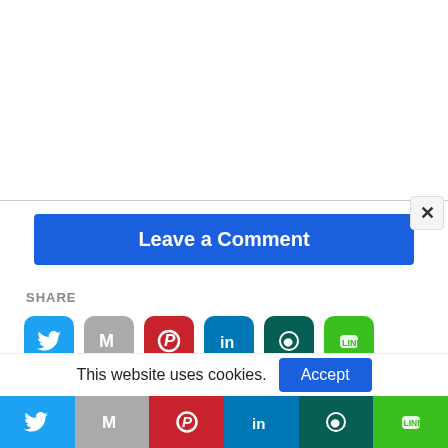[Figure (screenshot): Blue Leave a Comment button]
×
SHARE
[Figure (infographic): Row of social share icon buttons: Twitter, Gmail, Pinterest, LinkedIn, WhatsApp, LINE]
PUBLISHED BY
Epzilla
This website uses cookies.
[Figure (infographic): Bottom social share bar with Twitter, Gmail, Pinterest, LinkedIn, WhatsApp, LINE icons]